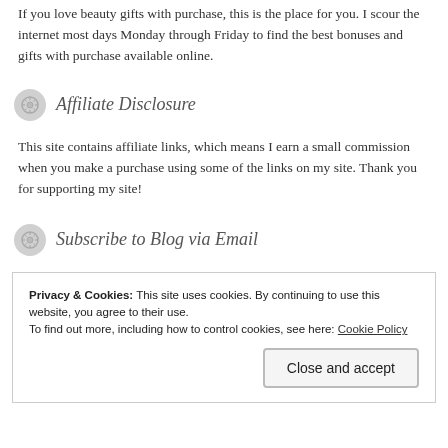If you love beauty gifts with purchase, this is the place for you. I scour the internet most days Monday through Friday to find the best bonuses and gifts with purchase available online.
Affiliate Disclosure
This site contains affiliate links, which means I earn a small commission when you make a purchase using some of the links on my site. Thank you for supporting my site!
Subscribe to Blog via Email
Privacy & Cookies: This site uses cookies. By continuing to use this website, you agree to their use.
To find out more, including how to control cookies, see here: Cookie Policy
Close and accept